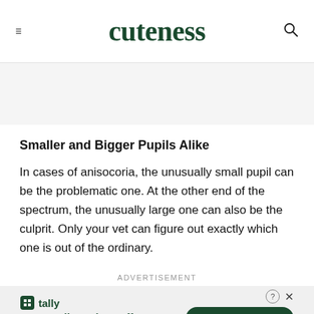cuteness
Smaller and Bigger Pupils Alike
In cases of anisocoria, the unusually small pupil can be the problematic one. At the other end of the spectrum, the unusually large one can also be the culprit. Only your vet can figure out exactly which one is out of the ordinary.
Advertisement
[Figure (other): Tally advertisement banner: 'Fast credit card payoff' with a 'Download Now' button]